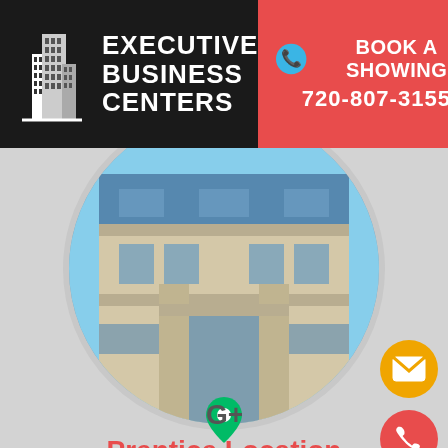EXECUTIVE BUSINESS CENTERS | BOOK A SHOWING 720-807-3155
[Figure (photo): Circular cropped photo of a modern office building facade with glass windows and concrete columns, viewed from below]
[Figure (other): Green location pin icon]
Prentice Location
8400 East Prentice Ave #1500
Greenwood Village, CO 80111
(303) 771-9926
[Figure (logo): Google+ icon]
[Figure (other): Yellow email icon circle on right side]
[Figure (other): Red phone icon circle on right side]